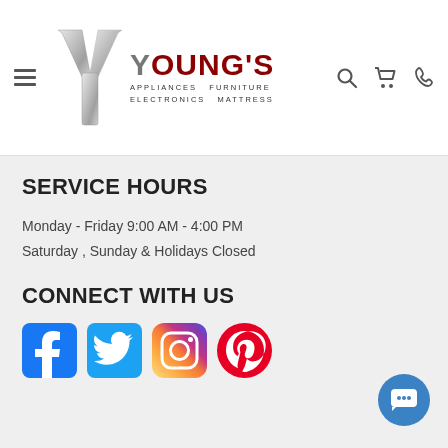[Figure (logo): Young's Appliances Furniture Electronics Mattress logo with silver Y letter mark and dark red brand name]
SERVICE HOURS
Monday - Friday 9:00 AM - 4:00 PM
Saturday , Sunday & Holidays Closed
CONNECT WITH US
[Figure (illustration): Social media icons: Facebook, Twitter, Instagram, Pinterest]